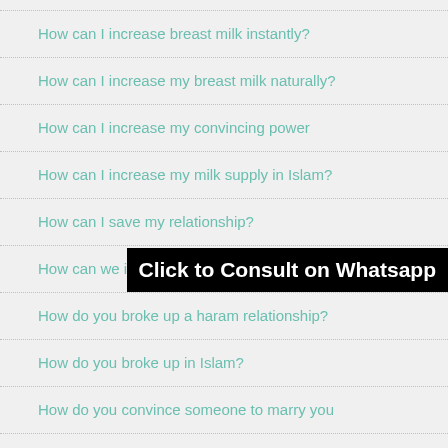How can I increase breast milk instantly?
How can I increase my breast milk naturally?
How can I increase my convincing power
How can I increase my milk supply in Islam?
How can I save my relationship?
How can we increase our breast size
How do you broke up a haram relationship?
How do you broke up in Islam?
How do you convince someone to marry you
how long should i wait for my husband to come back